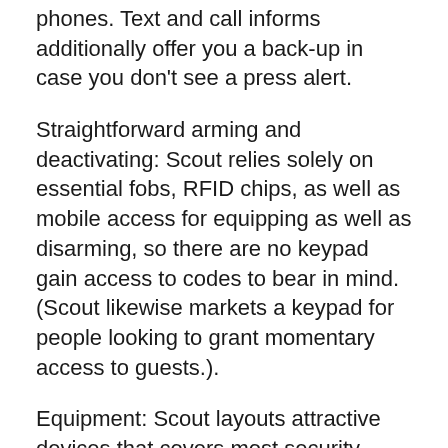phones. Text and call informs additionally offer you a back-up in case you don't see a press alert.
Straightforward arming and deactivating: Scout relies solely on essential fobs, RFID chips, as well as mobile access for equipping as well as disarming, so there are no keypad gain access to codes to bear in mind. (Scout likewise markets a keypad for people looking to grant momentary access to guests.).
Equipment: Scout layouts attractive devices that covers most security requirements. The system is compatible with lots of smart home platforms like Amazon.com Alexa, Google Aide †, Z-Wave, and also Zigbee.